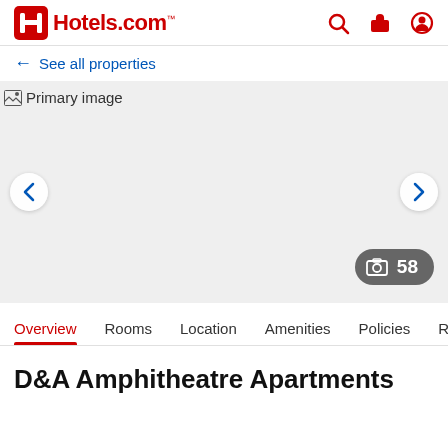Hotels.com
← See all properties
[Figure (screenshot): Primary image placeholder for hotel photo gallery with left and right navigation arrows and a photo count badge showing 58]
Overview  Rooms  Location  Amenities  Policies  Reviews
D&A Amphitheatre Apartments